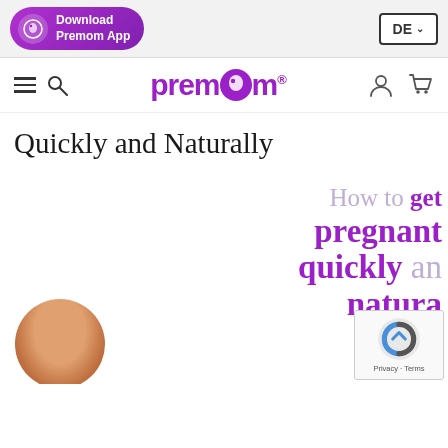Download Premom App | DE
[Figure (logo): Premom logo with purple circular icon and stylized text]
Quickly and Naturally
[Figure (illustration): Article preview image showing 'How to get pregnant quickly and naturally' text overlay with woman's photo and reCAPTCHA widget]